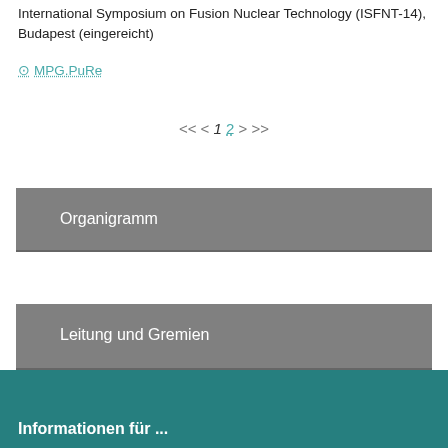International Symposium on Fusion Nuclear Technology (ISFNT-14), Budapest (eingereicht)
MPG.PuRe
<< < 1 2 > >>
Organigramm
Personalstruktur
Leitung und Gremien
Informationen für ...